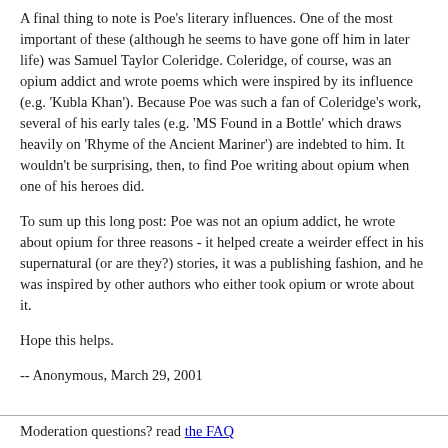A final thing to note is Poe's literary influences. One of the most important of these (although he seems to have gone off him in later life) was Samuel Taylor Coleridge. Coleridge, of course, was an opium addict and wrote poems which were inspired by its influence (e.g. 'Kubla Khan'). Because Poe was such a fan of Coleridge's work, several of his early tales (e.g. 'MS Found in a Bottle' which draws heavily on 'Rhyme of the Ancient Mariner') are indebted to him. It wouldn't be surprising, then, to find Poe writing about opium when one of his heroes did.
To sum up this long post: Poe was not an opium addict, he wrote about opium for three reasons - it helped create a weirder effect in his supernatural (or are they?) stories, it was a publishing fashion, and he was inspired by other authors who either took opium or wrote about it.
Hope this helps.
-- Anonymous, March 29, 2001
Moderation questions? read the FAQ